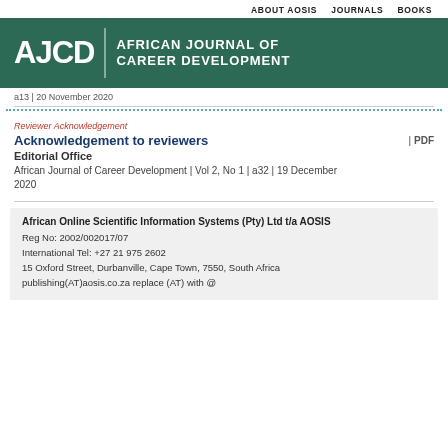ABOUT AOSIS   JOURNALS   BOOKS
[Figure (logo): AJCD African Journal of Career Development banner logo on dark green background]
a13 | 20 November 2020
Reviewer Acknowledgement
Acknowledgement to reviewers
Editorial Office
African Journal of Career Development | Vol 2, No 1 | a32 | 19 December 2020
| PDF
African Online Scientific Information Systems (Pty) Ltd t/a AOSIS
Reg No: 2002/002017/07
International Tel: +27 21 975 2602
15 Oxford Street, Durbanville, Cape Town, 7550, South Africa
publishing(AT)aosis.co.za replace (AT) with @